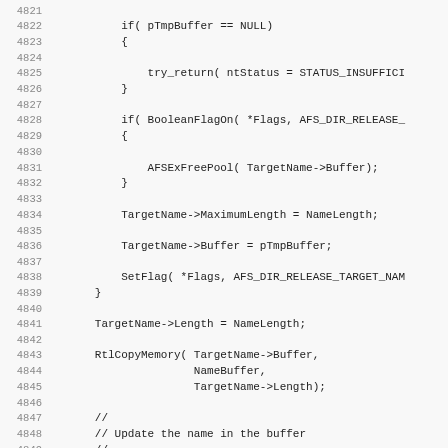[Figure (other): Source code listing showing C/C++ code lines 4821-4852, including null pointer check for pTmpBuffer, conditional free of TargetName buffer with BooleanFlagOn, setting MaximumLength and Buffer fields, SetFlag call, setting Length, RtlCopyMemory call, comment block, and AFSUpdateName call.]